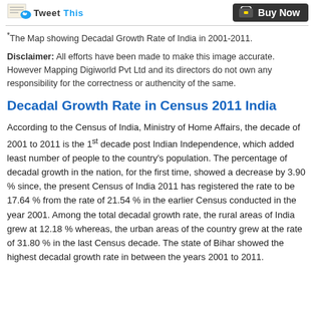Tweet This | Buy Now
*The Map showing Decadal Growth Rate of India in 2001-2011.
Disclaimer: All efforts have been made to make this image accurate. However Mapping Digiworld Pvt Ltd and its directors do not own any responsibility for the correctness or authencity of the same.
Decadal Growth Rate in Census 2011 India
According to the Census of India, Ministry of Home Affairs, the decade of 2001 to 2011 is the 1st decade post Indian Independence, which added least number of people to the country's population. The percentage of decadal growth in the nation, for the first time, showed a decrease by 3.90 % since, the present Census of India 2011 has registered the rate to be 17.64 % from the rate of 21.54 % in the earlier Census conducted in the year 2001. Among the total decadal growth rate, the rural areas of India grew at 12.18 % whereas, the urban areas of the country grew at the rate of 31.80 % in the last Census decade. The state of Bihar showed the highest decadal growth rate in between the years 2001 to 2011.